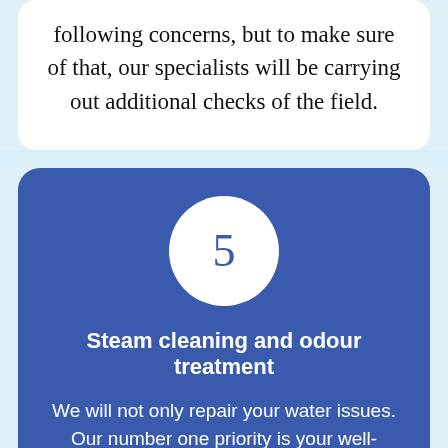following concerns, but to make sure of that, our specialists will be carrying out additional checks of the field.
5
Steam cleaning and odour treatment
We will not only repair your water issues. Our number one priority is your well-being. Due to